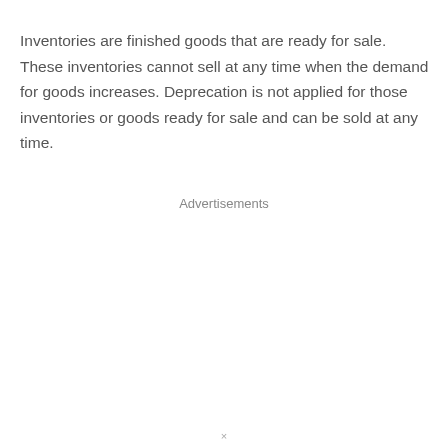Inventories are finished goods that are ready for sale. These inventories cannot sell at any time when the demand for goods increases. Deprecation is not applied for those inventories or goods ready for sale and can be sold at any time.
Advertisements
×